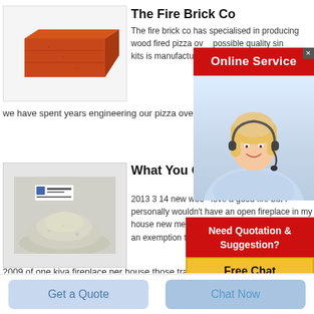[Figure (photo): Orange/red fire brick on white background]
The Fire Brick Co
The fire brick co has specialised in producing wood fired pizza ov... possible quality sin... kits is manufactured... melbourne with the... we have spent years engineering our pizza oven kits to enjoyable the assembly straightforward
[Figure (infographic): Online Service popup with red banner and smiling female customer service agent with headset]
[Figure (photo): Pile of grey/white refractory powder with a small label sign]
What You Can Wood Burning
2013 3 14 new woo... love a good fire but I personally wouldn't have an open fireplace in my house new mexico put in an new mexico put in an exemption to iecc 2009 of one kiva fireplace per house those traditional pueblo style ones you see in
[Figure (infographic): Need Quotation & Suggestion? Free Chat popup with red box and yellow button]
Get a Quote
Chat Now